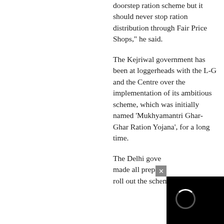doorstep ration scheme but it should never stop ration distribution through Fair Price Shops," he said.
The Kejriwal government has been at loggerheads with the L-G and the Centre over the implementation of its ambitious scheme, which was initially named 'Mukhyamantri Ghar-Ghar Ration Yojana', for a long time.
The Delhi gove... made all prepa... roll out the scheme...